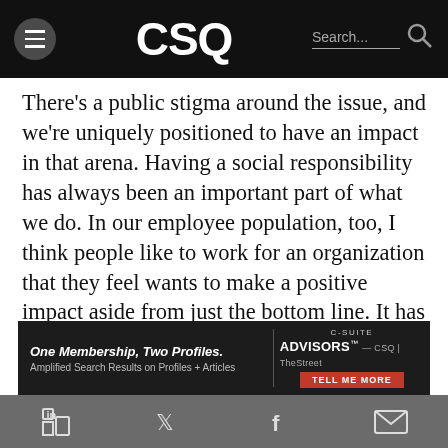CSQ
There’s a public stigma around the issue, and we’re uniquely positioned to have an impact in that arena. Having a social responsibility has always been an important part of what we do. In our employee population, too, I think people like to work for an organization that they feel wants to make a positive impact aside from just the bottom line. It has been an important part of our company policy and strategy over the years.
[Figure (infographic): Advertisement banner: One Membership, Two Profiles. Amplified Search Results on Profiles + Articles. C-Suite Advisors branding with TELL ME MORE button.]
LinkedIn, Twitter, Facebook, Email social share icons